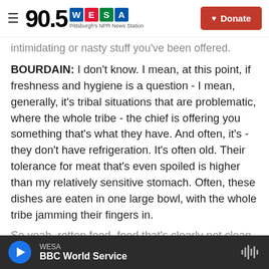90.5 WESA Pittsburgh's NPR News Station | Donate
intimidating or nasty stuff you've been offered.
BOURDAIN: I don't know. I mean, at this point, if freshness and hygiene is a question - I mean, generally, it's tribal situations that are problematic, where the whole tribe - the chief is offering you something that's what they have. And often, it's - they don't have refrigeration. It's often old. Their tolerance for meat that's even spoiled is higher than my relatively sensitive stomach. Often, these dishes are eaten in one large bowl, with the whole tribe jamming their fingers in.
So yeah, rotten food, food that's clearly not clean
WESA | BBC World Service